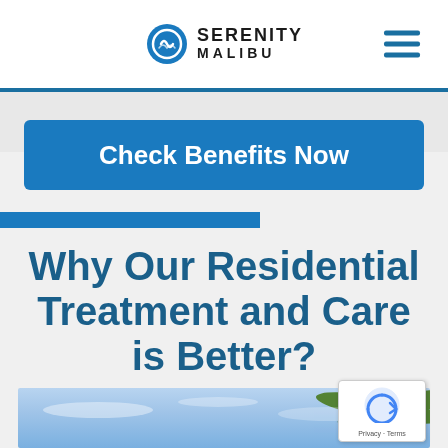[Figure (logo): Serenity Malibu logo with circular wave icon and hamburger menu icon]
Check Benefits Now
Why Our Residential Treatment and Care is Better?
[Figure (photo): Outdoor photo showing blue sky with clouds and palm tree fronds in the right corner]